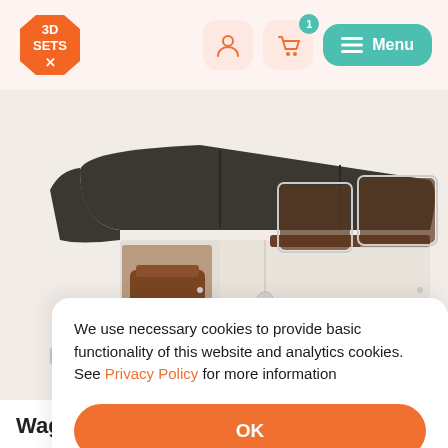[Figure (screenshot): 3D SETS X logo - orange irregular hexagon shape with white text '3D SETS X']
[Figure (screenshot): Navigation header with user icon button, cart icon button with badge '1', and teal Menu button]
[Figure (photo): 3D render of a white off-road vehicle (wagon/Land Rover style) with dark brown/olive roof that lifts up, showing interior brown seats, viewed from rear-left angle on light pink/beige background]
We use necessary cookies to provide basic functionality of this website and analytics cookies. See Privacy Policy for more information
OK
Wago...